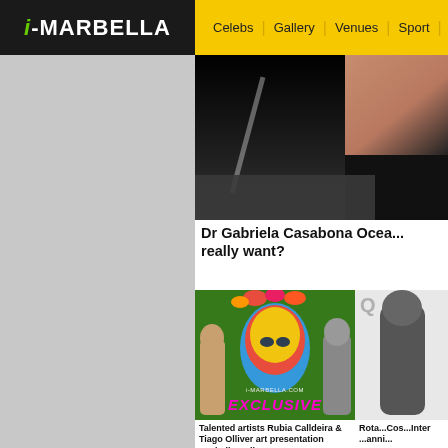i-MARBELLA | Celebs | Gallery | Venues | Sport | Restau...
[Figure (screenshot): Dark photo with partial view of a person, diagonal reflective streak]
Dr Gabriela Casabona Ocea... really want?
[Figure (photo): Exclusive photo of two people with colorful face art painting, i-marbella.com EXCLUSIVE label]
[Figure (photo): Partial photo on right side showing a person]
Talented artists Rubia Calldeira & Tiago Olliver art presentation Marbella Gallery!
Rota... Cos... Inter... anni...
[Figure (photo): Bottom left partial image, beige/tan tones]
[Figure (photo): Bottom right partial image, light tones with M visible]